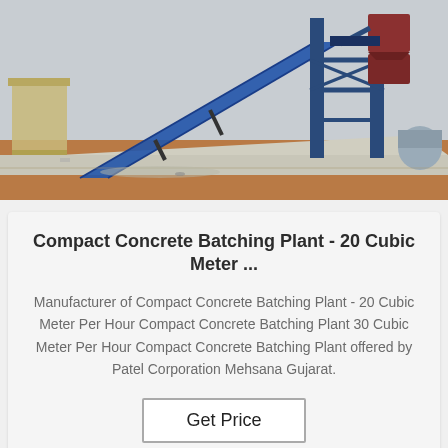[Figure (photo): Outdoor photo of a compact concrete batching plant facility showing blue conveyor belt structure, steel framework silos, aggregate hoppers, and concrete floor pad with overcast sky background]
Compact Concrete Batching Plant - 20 Cubic Meter ...
Manufacturer of Compact Concrete Batching Plant - 20 Cubic Meter Per Hour Compact Concrete Batching Plant 30 Cubic Meter Per Hour Compact Concrete Batching Plant offered by Patel Corporation Mehsana Gujarat.
Get Price